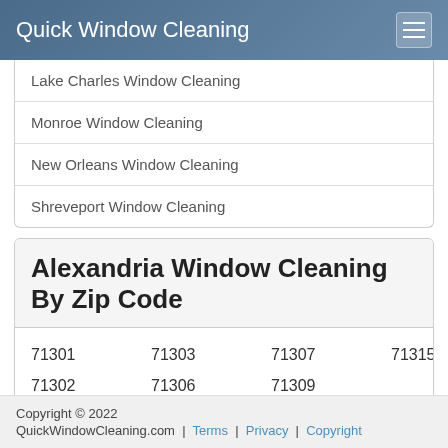Quick Window Cleaning
Lake Charles Window Cleaning
Monroe Window Cleaning
New Orleans Window Cleaning
Shreveport Window Cleaning
Alexandria Window Cleaning By Zip Code
71301  71303  71307  71315
71302  71306  71309
Copyright © 2022
QuickWindowCleaning.com | Terms | Privacy | Copyright